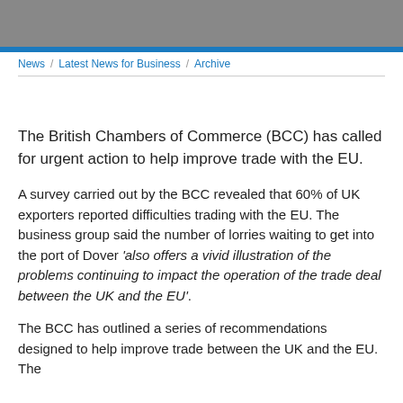[Figure (other): Gray header banner image]
News / Latest News for Business / Archive
The British Chambers of Commerce (BCC) has called for urgent action to help improve trade with the EU.
A survey carried out by the BCC revealed that 60% of UK exporters reported difficulties trading with the EU. The business group said the number of lorries waiting to get into the port of Dover 'also offers a vivid illustration of the problems continuing to impact the operation of the trade deal between the UK and the EU'.
The BCC has outlined a series of recommendations designed to help improve trade between the UK and the EU. The